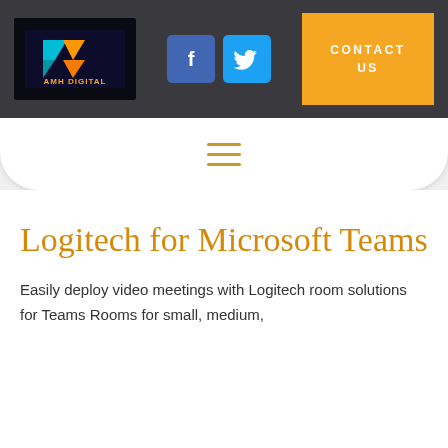[Figure (logo): AMH Digital logo with colorful geometric arrow shapes on dark background with text AMH DIGITAL in orange]
[Figure (logo): Facebook icon - white f on blue rounded square]
[Figure (logo): Twitter icon - white bird on cyan rounded square]
CONTACT US
[Figure (illustration): Hamburger menu icon with three horizontal golden/amber lines]
Logitech for Microsoft Teams
Easily deploy video meetings with Logitech room solutions for Teams Rooms for small, medium,